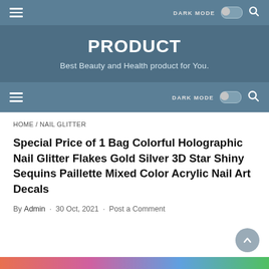DARK MODE [toggle] [search]
PRODUCT
Best Beauty and Health product for You.
DARK MODE [toggle] [search]
HOME / NAIL GLITTER
Special Price of 1 Bag Colorful Holographic Nail Glitter Flakes Gold Silver 3D Star Shiny Sequins Paillette Mixed Color Acrylic Nail Art Decals
By Admin · 30 Oct, 2021 · Post a Comment